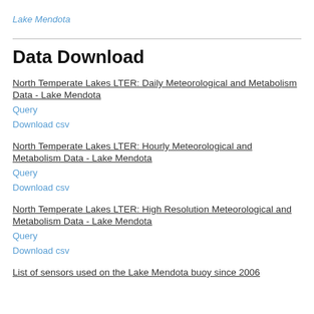Lake Mendota
Data Download
North Temperate Lakes LTER: Daily Meteorological and Metabolism Data - Lake Mendota
Query
Download csv
North Temperate Lakes LTER: Hourly Meteorological and Metabolism Data - Lake Mendota
Query
Download csv
North Temperate Lakes LTER: High Resolution Meteorological and Metabolism Data - Lake Mendota
Query
Download csv
List of sensors used on the Lake Mendota buoy since 2006